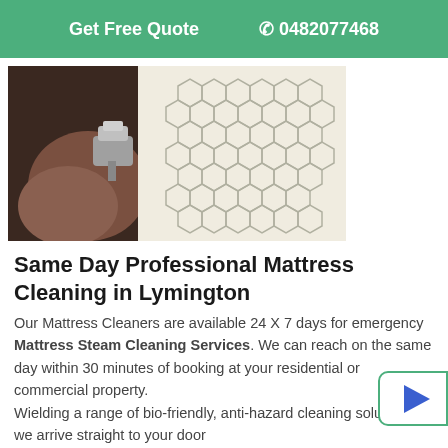Get Free Quote   📞 0482077468
[Figure (photo): A person using a steam cleaning machine/wand on a white mattress with a geometric hexagon pattern]
Same Day Professional Mattress Cleaning in Lymington
Our Mattress Cleaners are available 24 X 7 days for emergency Mattress Steam Cleaning Services. We can reach on the same day within 30 minutes of booking at your residential or commercial property.
Wielding a range of bio-friendly, anti-hazard cleaning solutions we arrive straight to your door